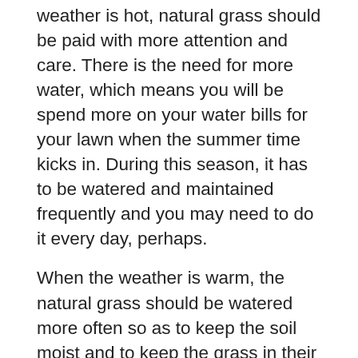weather is hot, natural grass should be paid with more attention and care. There is the need for more water, which means you will be spend more on your water bills for your lawn when the summer time kicks in. During this season, it has to be watered and maintained frequently and you may need to do it every day, perhaps.
When the weather is warm, the natural grass should be watered more often so as to keep the soil moist and to keep the grass in their healthy and good condition. If there is no adequate supply of water, chances are that your lawn will be in bad state as the soil would dry out and this will prevent the root zone of the grass from absorbing the essential nutrients from the soil. In times that there is no ample of supply of water, but you want to keep a beautiful landscape at home, you should turn to this